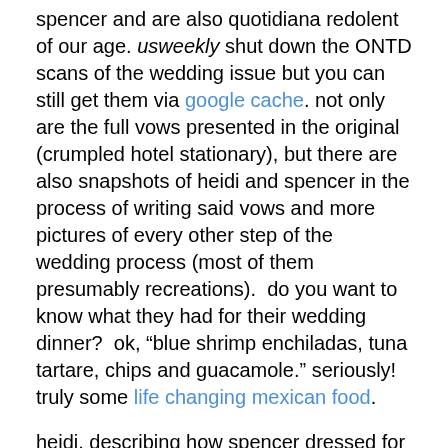spencer and are also quotidiana redolent of our age. usweekly shut down the ONTD scans of the wedding issue but you can still get them via google cache. not only are the full vows presented in the original (crumpled hotel stationary), but there are also snapshots of heidi and spencer in the process of writing said vows and more pictures of every other step of the wedding process (most of them presumably recreations).  do you want to know what they had for their wedding dinner?  ok, “blue shrimp enchiladas, tuna tartare, chips and guacamole.”  seriously!  truly some life changing mexican food.
heidi, describing how spencer dressed for the occasion, notes that he put on “his collared shirt.” as if he only had one – how casual and joe the plumber!  heidi herself didn’t wear a wedding gown but instead wore her sundress from the beach (however, she is careful to note that it was a